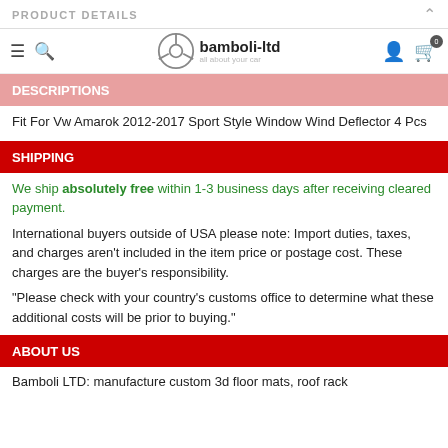PRODUCT DETAILS
[Figure (logo): bamboli-ltd logo with steering wheel icon and tagline 'all about your car', plus navigation icons (hamburger, search, account, cart with 0 badge)]
DESCRIPTIONS
Fit For Vw Amarok 2012-2017 Sport Style Window Wind Deflector 4 Pcs
SHIPPING
We ship absolutely free within 1-3 business days after receiving cleared payment.
International buyers outside of USA please note: Import duties, taxes, and charges aren't included in the item price or postage cost. These charges are the buyer's responsibility.
"Please check with your country's customs office to determine what these additional costs will be prior to buying."
ABOUT US
Bamboli LTD: manufacture custom 3d floor mats, roof rack...